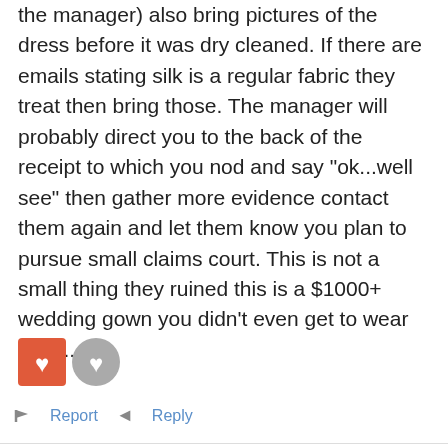the manager) also bring pictures of the dress before it was dry cleaned. If there are emails stating silk is a regular fabric they treat then bring those. The manager will probably direct you to the back of the receipt to which you nod and say "ok...well see" then gather more evidence contact them again and let them know you plan to pursue small claims court. This is not a small thing they ruined this is a $1000+ wedding gown you didn't even get to wear once...
[Figure (illustration): Two reaction icons: a red square icon with a heart symbol and a gray circle icon with a heart symbol]
Report   Reply
HaileyDancingbear   Arkham Asylum   member
[Figure (illustration): Four badge icons with notification numbers: gray badge with 5 (red), gray badge with 5 (blue), gray badge with 1 (orange), gray badge with @ symbol]
March 2014
That's horrible!!!  If they can't fix it (Which they really should, not even a matter of policies, just a matter of not being a